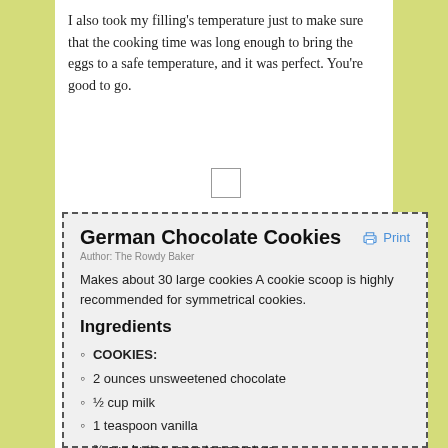I also took my filling's temperature just to make sure that the cooking time was long enough to bring the eggs to a safe temperature, and it was perfect. You're good to go.
[Figure (other): Small image placeholder]
German Chocolate Cookies
Author: The Rowdy Baker
Makes about 30 large cookies A cookie scoop is highly recommended for symmetrical cookies.
Ingredients
COOKIES:
2 ounces unsweetened chocolate
½ cup milk
1 teaspoon vanilla
¾ cup butter, room temperature
1 cup brown sugar
½ cup white sugar
2 eggs
1½ cups all-purpose flour